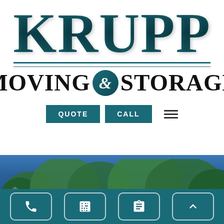[Figure (logo): Krupp Moving & Storage company logo with teal serif lettering for KRUPP, double underline divider, and black bold MOVING & STORAGE text with teal circular ampersand]
[Figure (photo): Outdoor photo showing trees against a blue sky with a house visible at lower left, overlaid with italic white text 'Tag: Ohio']
[Figure (infographic): Bottom toolbar with four teal rounded-rectangle icon buttons: phone, calculator, clipboard, and up-arrow]